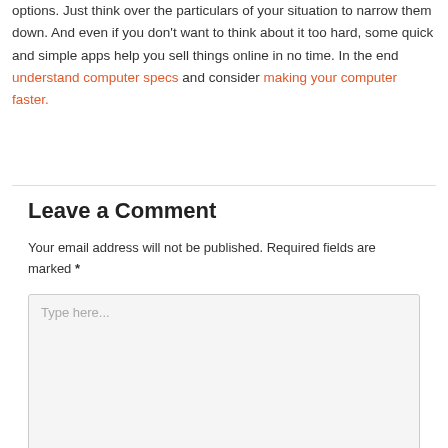options. Just think over the particulars of your situation to narrow them down. And even if you don't want to think about it too hard, some quick and simple apps help you sell things online in no time. In the end understand computer specs and consider making your computer faster.
Leave a Comment
Your email address will not be published. Required fields are marked *